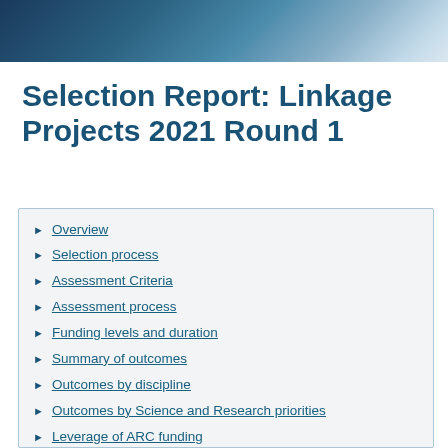[Figure (photo): Header banner image with dark blue and light blue tones, appears to show a blurred background]
Selection Report: Linkage Projects 2021 Round 1
Overview
Selection process
Assessment Criteria
Assessment process
Funding levels and duration
Summary of outcomes
Outcomes by discipline
Outcomes by Science and Research priorities
Leverage of ARC funding
Outcomes by Administering Organisation